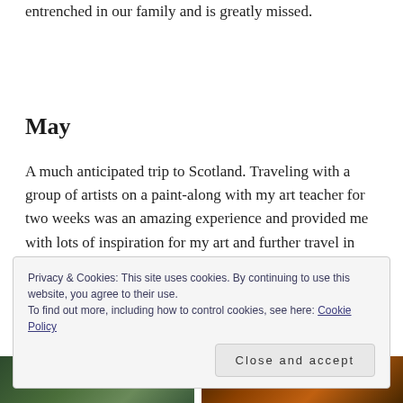entrenched in our family and is greatly missed.
May
A much anticipated trip to Scotland. Traveling with a group of artists on a paint-along with my art teacher for two weeks was an amazing experience and provided me with lots of inspiration for my art and further travel in
Privacy & Cookies: This site uses cookies. By continuing to use this website, you agree to their use.
To find out more, including how to control cookies, see here: Cookie Policy
Close and accept
[Figure (photo): Two photos at the bottom of the page: left shows a dark green forested/tropical scene, right shows a warm orange/amber night or fire scene.]